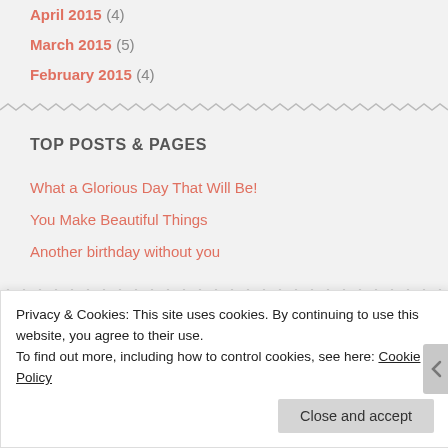April 2015 (4)
March 2015 (5)
February 2015 (4)
TOP POSTS & PAGES
What a Glorious Day That Will Be!
You Make Beautiful Things
Another birthday without you
Privacy & Cookies: This site uses cookies. By continuing to use this website, you agree to their use. To find out more, including how to control cookies, see here: Cookie Policy
Close and accept